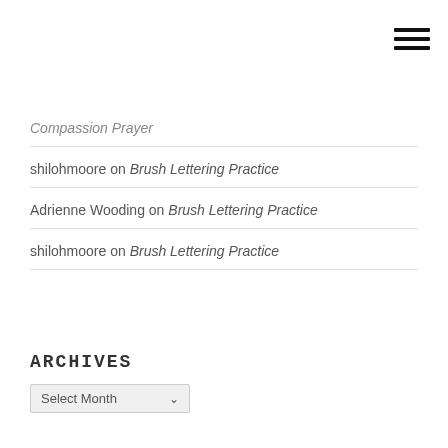[Figure (other): Hamburger menu icon (three horizontal lines) in top right corner]
Compassion Prayer
shilohmoore on Brush Lettering Practice
Adrienne Wooding on Brush Lettering Practice
shilohmoore on Brush Lettering Practice
ARCHIVES
Select Month